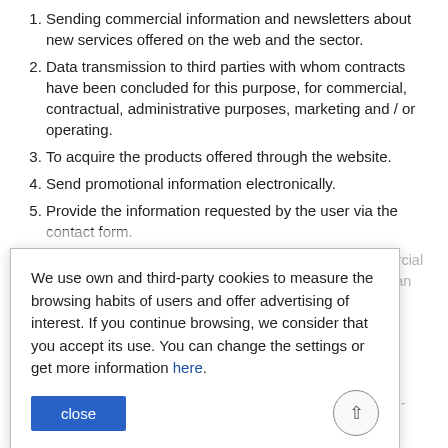1. Sending commercial information and newsletters about new services offered on the web and the sector.
2. Data transmission to third parties with whom contracts have been concluded for this purpose, for commercial, contractual, administrative purposes, marketing and / or operating.
3. To acquire the products offered through the website.
4. Send promotional information electronically.
5. Provide the information requested by the user via the contact form.
We remind you that you can oppose the sending of commercial communications by any means and at any time by sending an email to the above addresses.
The processing of this data is necessary, making it impossible to subscribe to the services if these data are not provided.
How long personal data collected are preserved?
The personal data will be retained while the commercial or non-commercial relationship is maintained requesting removal and during the period for which legal liabilities may arise for the services provided.
We use own and third-party cookies to measure the browsing habits of users and offer advertising of interest. If you continue browsing, we consider that you accept its use. You can change the settings or get more information here.